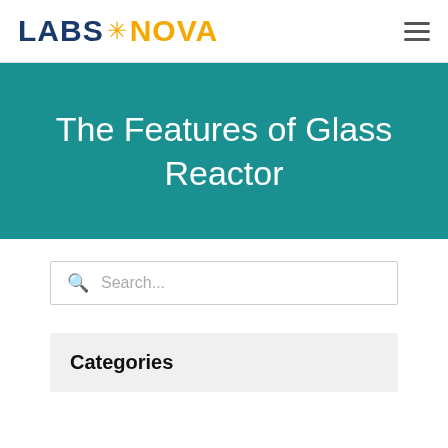LABS * NOVA
The Features of Glass Reactor
Search...
Categories